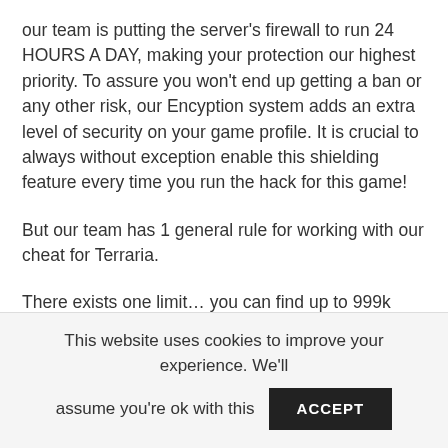our team is putting the server's firewall to run 24 HOURS A DAY, making your protection our highest priority. To assure you won't end up getting a ban or any other risk, our Encyption system adds an extra level of security on your game profile. It is crucial to always without exception enable this shielding feature every time you run the hack for this game!
But our team has 1 general rule for working with our cheat for Terraria.
There exists one limit… you can find up to 999k Terraria resources per day. Right after one day, you can easily return for more 999k health and mana that'll be waiting for you.
This website uses cookies to improve your experience. We'll assume you're ok with this   ACCEPT